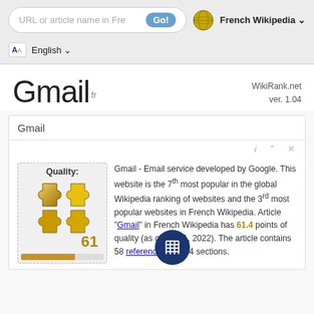URL or article name in Fre  Go!  French Wikipedia
English
Gmail fr
WikiRank.net ver. 1.04
Gmail
[Figure (illustration): Gold puzzle pieces icon with quality score 61 and a bar below]
Gmail - Email service developed by Google. This website is the 7th most popular in the global Wikipedia ranking of websites and the 3rd most popular websites in French Wikipedia. Article "Gmail" in French Wikipedia has 61.4 points of quality (as of April 1, 2022). The article contains 58 references and 24 sections.